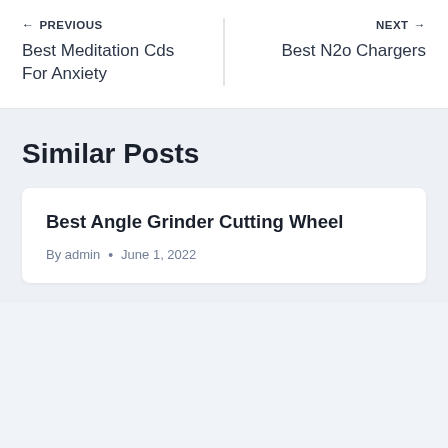← PREVIOUS
Best Meditation Cds For Anxiety
NEXT →
Best N2o Chargers
Similar Posts
Best Angle Grinder Cutting Wheel
By admin • June 1, 2022